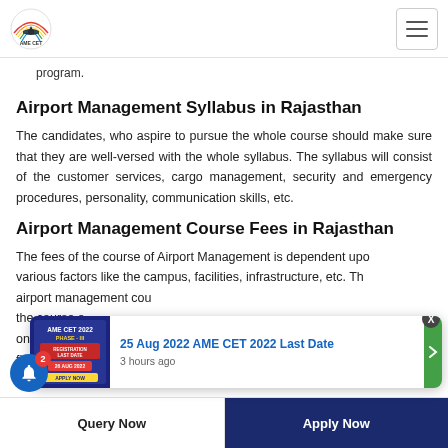AME CET
program.
Airport Management Syllabus in Rajasthan
The candidates, who aspire to pursue the whole course should make sure that they are well-versed with the whole syllabus. The syllabus will consist of the customer services, cargo management, security and emergency procedures, personality, communication skills, etc.
Airport Management Course Fees in Rajasthan
The fees of the course of Airport Management is dependent upon various factors like the campus, facilities, infrastructure, etc. The airport management course fees in Rajasthan ranges from the course fees. The duration of the course field of Airport Management.
[Figure (screenshot): Notification popup showing AME CET 2022 Phase III Registration Last Date banner with text '25 Aug 2022 AME CET 2022 Last Date' and '3 hours ago']
Query Now | Apply Now